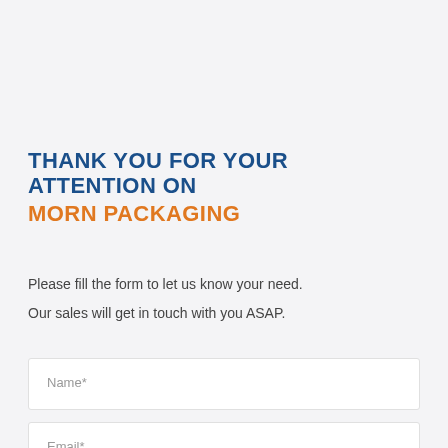THANK YOU FOR YOUR ATTENTION ON MORN PACKAGING
Please fill the form to let us know your need.
Our sales will get in touch with you ASAP.
Name*
Email*